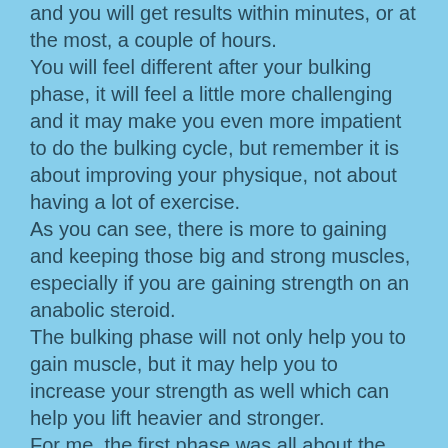and you will get results within minutes, or at the most, a couple of hours. You will feel different after your bulking phase, it will feel a little more challenging and it may make you even more impatient to do the bulking cycle, but remember it is about improving your physique, not about having a lot of exercise. As you can see, there is more to gaining and keeping those big and strong muscles, especially if you are gaining strength on an anabolic steroid. The bulking phase will not only help you to gain muscle, but it may help you to increase your strength as well which can help you lift heavier and stronger. For me, the first phase was all about the bulking, the following two phases were a little bit more gradual. The bulking phase is a good time to work on your strength and muscle mass to build lean body mass (LBM) and you will also gain a